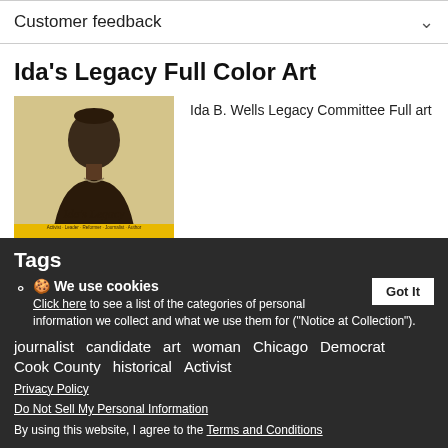Customer feedback
Ida's Legacy Full Color Art
[Figure (illustration): Ida's Legacy art image showing a historical portrait of Ida B. Wells with cursive text 'Ida's Legacy', subtitle text 'Activist · Leader · Reformer · Journalist · Author', Ida B. Wells Legacy Committee, www.idaslegacy.com on a tan/golden background]
Ida B. Wells Legacy Committee Full art
Tags
We use cookies
journalist  candidate  art  woman  Chicago  Democrat
Click here to see a list of the categories of personal information we collect and what we use them for ("Notice at Collection").
Cook County   historical   Activist
Privacy Policy
Do Not Sell My Personal Information
By using this website, I agree to the Terms and Conditions